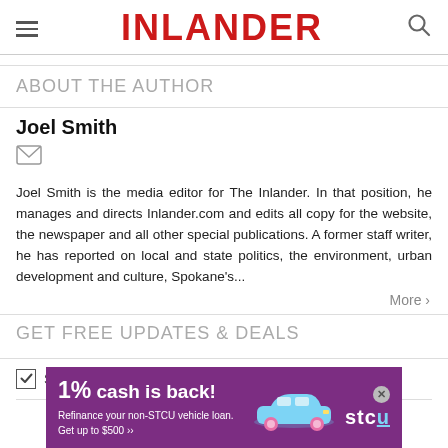INLANDER
ABOUT THE AUTHOR
Joel Smith
Joel Smith is the media editor for The Inlander. In that position, he manages and directs Inlander.com and edits all copy for the website, the newspaper and all other special publications. A former staff writer, he has reported on local and state politics, the environment, urban development and culture, Spokane's...
More >
GET FREE UPDATES & DEALS
Sneak Peek Preview
[Figure (screenshot): STCU advertisement banner: '1% cash is back! Refinance your non-STCU vehicle loan. Get up to $500 >>' with a blue car illustration and STCU logo on purple background.]